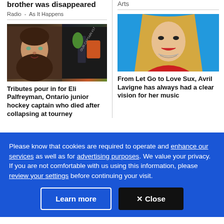brother was disappeared
Radio - As It Happens
[Figure (photo): Left: young man's face (dark curly hair); Right: food/produce with label]
Tributes pour in for Eli Palfreyman, Ontario junior hockey captain who died after collapsing at tourney
Arts
[Figure (photo): Blonde woman in red top against blue background (Avril Lavigne)]
From Let Go to Love Sux, Avril Lavigne has always had a clear vision for her music
Please know that cookies are required to operate and enhance our services as well as for advertising purposes. We value your privacy. If you are not comfortable with us using this information, please review your settings before continuing your visit.